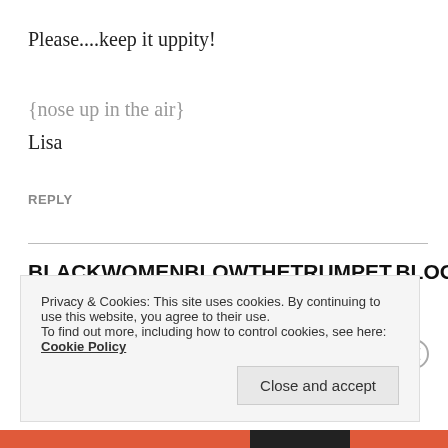Please....keep it uppity!
{nose up in the air}
Lisa
REPLY
BLACKWOMENBLOWTHETTRUMPET.BLOGSPOT.CO
September 6, 2008 at 5:24 pm
Privacy & Cookies: This site uses cookies. By continuing to use this website, you agree to their use.
To find out more, including how to control cookies, see here: Cookie Policy
Close and accept